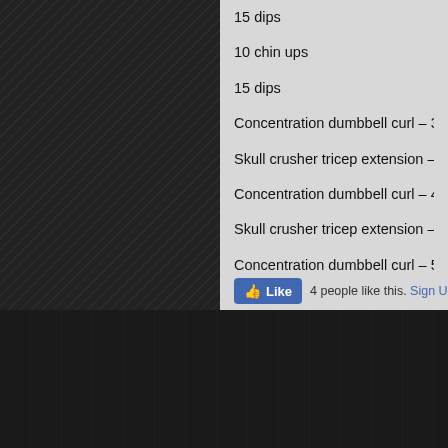15 dips
10 chin ups
15 dips
Concentration dumbbell curl – 30lbs
Skull crusher tricep extension – 60lb
Concentration dumbbell curl – 40lbs
Skull crusher tricep extension – 80lb
Concentration dumbbell curl – 50lbs
Skull crusher tricep extension – 100lb
4 people like this. Sign Up to see